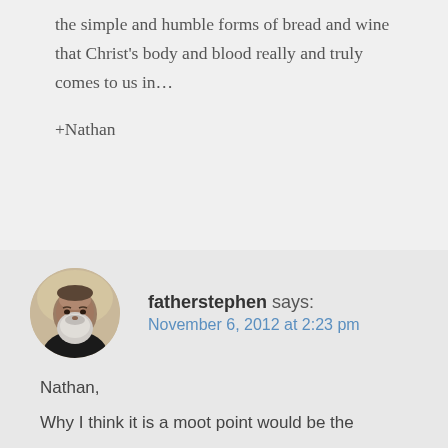the simple and humble forms of bread and wine that Christ's body and blood really and truly comes to us in...
+Nathan
fatherstephen says:
November 6, 2012 at 2:23 pm
[Figure (photo): Circular avatar photo of a bearded man with gray beard against a light background]
Nathan,
Why I think it is a moot point would be the